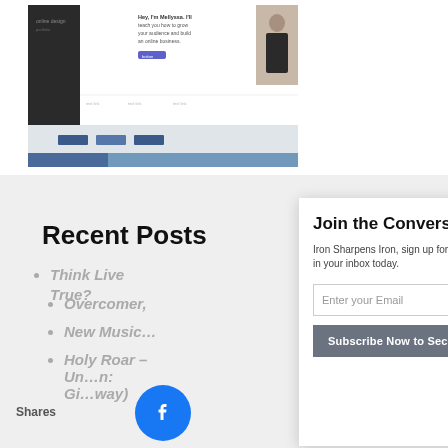[Figure (screenshot): Screenshot of a website showing a coaching/online business page with a woman's photo, dark sidebar with text, and blue/grey color blocks at the bottom.]
Recent Posts
Think Live …True?
Overcomer,…
New Music…
Holy Roar – Un…n: Gi…way)
Join the Conversation
Iron Sharpens Iron, sign up for some iron in your inbox today.
Enter your Email
Subscribe Now to Secondiron
Shares